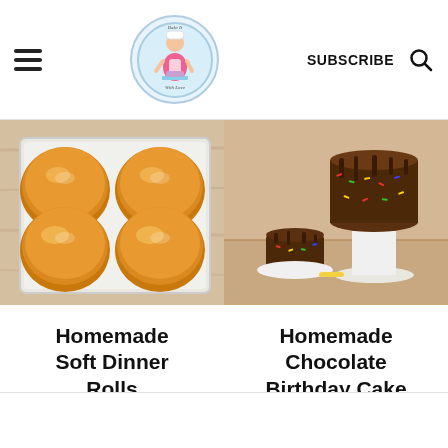Bake It With Love — SUBSCRIBE
[Figure (photo): Golden homemade soft dinner rolls in a white baking pan on a wooden surface]
[Figure (photo): Homemade chocolate birthday cake with chocolate drip, rainbow sprinkles on a white cake stand, with a small smash cake in front]
Homemade Soft Dinner Rolls
Homemade Chocolate Birthday Cake